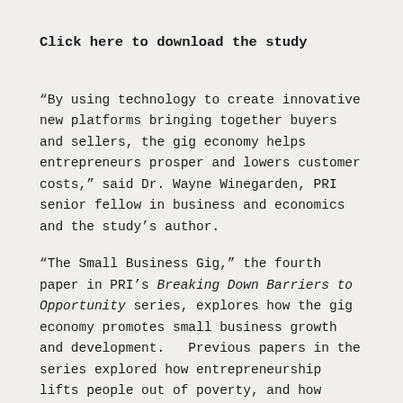Click here to download the study
“By using technology to create innovative new platforms bringing together buyers and sellers, the gig economy helps entrepreneurs prosper and lowers customer costs,” said Dr. Wayne Winegarden, PRI senior fellow in business and economics and the study’s author.
“The Small Business Gig,” the fourth paper in PRI’s Breaking Down Barriers to Opportunity series, explores how the gig economy promotes small business growth and development.   Previous papers in the series explored how entrepreneurship lifts people out of poverty, and how entrepreneurship can alleviate America’s health care challenges.